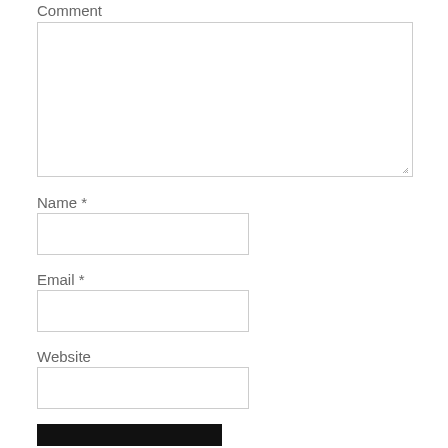Comment
[Figure (screenshot): Comment textarea input field with resize handle at bottom-right]
Name *
[Figure (screenshot): Name text input field]
Email *
[Figure (screenshot): Email text input field]
Website
[Figure (screenshot): Website text input field]
[Figure (screenshot): Submit button (black background)]